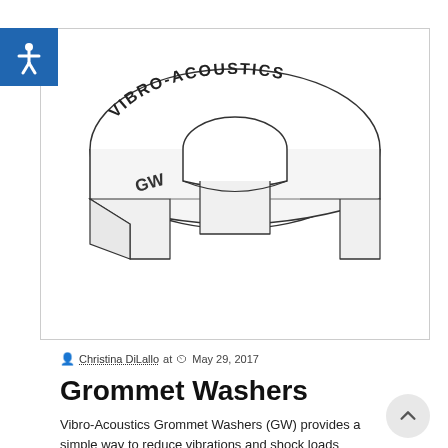[Figure (illustration): 3D line drawing of a Vibro-Acoustics Grommet Washer (GW) — a horseshoe/ring-shaped rubber component with 'VIBRO-ACOUSTICS' text embossed along the top arc and 'GW' on the lower-left, shown in isometric view with a cross-section cut away to reveal the bottom mounting tabs.]
Christina DiLallo at  May 29, 2017
Grommet Washers
Vibro-Acoustics Grommet Washers (GW) provides a simple way to reduce vibrations and shock loads